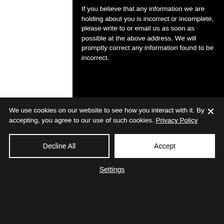If you believe that any information we are holding about you is incorrect or incomplete, please write to or email us as soon as possible at the above address. We will promptly correct any information found to be incorrect.
Delivery and Returns
Our Fabrics
Contact us
Reviews
Privacy Policy
[Figure (logo): Edgy Jayd Collection by Amy Lianne Ltd logo with Instagram and Facebook social icons]
We use cookies on our website to see how you interact with it. By accepting, you agree to our use of such cookies. Privacy Policy
Decline All
Accept
Settings